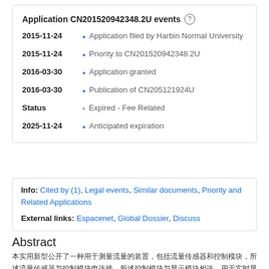Application CN201520942348.2U events
2015-11-24 • Application filed by Harbin Normal University
2015-11-24 • Priority to CN201520942348.2U
2016-03-30 • Application granted
2016-03-30 • Publication of CN205121924U
Status • Expired - Fee Related
2025-11-24 • Anticipated expiration
Info: Cited by (1), Legal events, Similar documents, Priority and Related Applications
External links: Espacenet, Global Dossier, Discuss
Abstract
[Chinese abstract text]